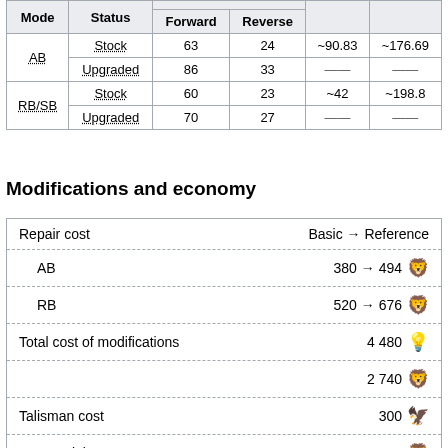| Mode | Status | Forward | Reverse |  |  |
| --- | --- | --- | --- | --- | --- |
| AB | Stock | 63 | 24 | ~90.83 | ~176.69 |
| AB | Upgraded | 86 | 33 | — | — |
| RB/SB | Stock | 60 | 23 | ~42 | ~198.8 |
| RB/SB | Upgraded | 70 | 27 | — | — |
Modifications and economy
|  | Basic → Reference |
| --- | --- |
| Repair cost | Basic → Reference |
| AB | 380 → 494 🦁 |
| RB | 520 → 676 🦁 |
| Total cost of modifications | 4 480 💡 |
|  | 2 740 🦁 |
| Talisman cost | 300 🦅 |
| Crew training | 600 🦁 |